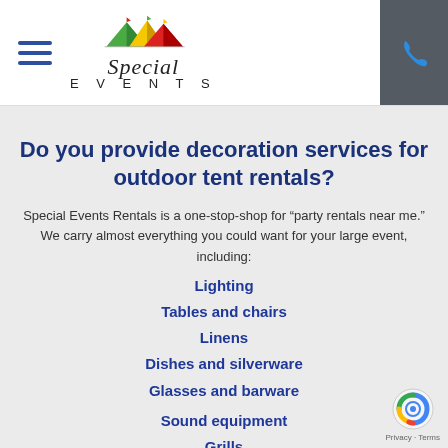[Figure (logo): Special Events Rentals logo with colorful tent icons above stylized italic 'Special' text and 'EVENTS' in spaced caps below]
Do you provide decoration services for outdoor tent rentals?
Special Events Rentals is a one-stop-shop for “party rentals near me.” We carry almost everything you could want for your large event, including:
Lighting
Tables and chairs
Linens
Dishes and silverware
Glasses and barware
Sound equipment
Grills